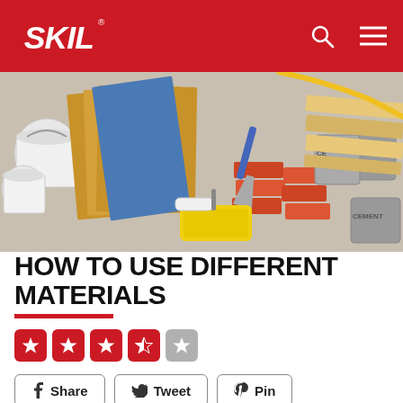SKIL
[Figure (photo): Hero image showing a collection of building and DIY materials including bricks, cement bags, wood planks, OSB panels, paint buckets, roller brushes, a trowel, and a yellow paint tray arranged together.]
HOW TO USE DIFFERENT MATERIALS
[Figure (infographic): Rating: 3.5 out of 5 stars — four red star boxes (three fully filled, one half) and one grey star box]
[Figure (infographic): Social share buttons: Share (Facebook), Tweet (Twitter), Pin (Pinterest)]
You'll find different materials, both natural and synthetic, when working on building or home DIY jobs. The